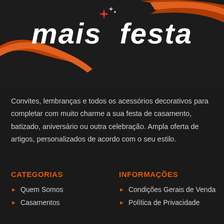[Figure (logo): Mais Festa logo with orange swoosh curves and sparkle stars on dark background]
Convites, lembranças e todos os acessórios decorativos para completar com muito charme a sua festa de casamento, batizado, aniversário ou outra celebração. Ampla oferta de artigos, personalizados de acordo com o seu estilo.
CATEGORIAS
INFORMAÇÕES
Quem Somos
Condições Gerais de Venda
Casamentos
Política de Privacidade